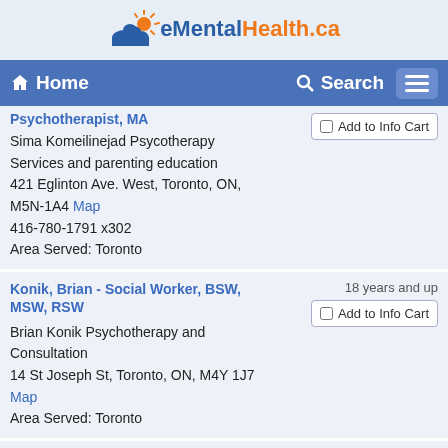eMentalHealth.ca
Home | Search
Psychotherapist, MA
Sima Komeilinejad Psycotherapy Services and parenting education
421 Eglinton Ave. West, Toronto, ON, M5N-1A4 Map
416-780-1791 x302
Area Served: Toronto
Konik, Brian - Social Worker, BSW, MSW, RSW
Brian Konik Psychotherapy and Consultation
14 St Joseph St, Toronto, ON, M4Y 1J7
Map
Area Served: Toronto
18 years and up
Korh, Lara - Registered Psychotherapist, RP
18 - 70 years